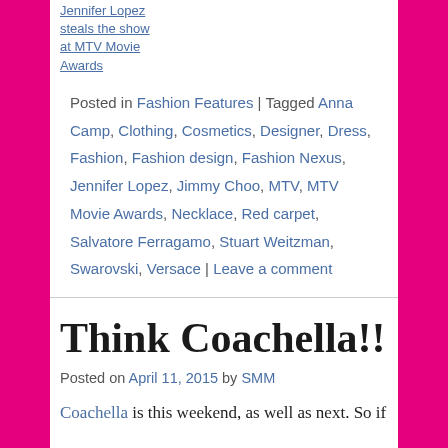Jennifer Lopez steals the show at MTV Movie Awards
Posted in Fashion Features | Tagged Anna Camp, Clothing, Cosmetics, Designer, Dress, Fashion, Fashion design, Fashion Nexus, Jennifer Lopez, Jimmy Choo, MTV, MTV Movie Awards, Necklace, Red carpet, Salvatore Ferragamo, Stuart Weitzman, Swarovski, Versace | Leave a comment
Think Coachella!!
Posted on April 11, 2015 by SMM
Coachella is this weekend, as well as next. So if